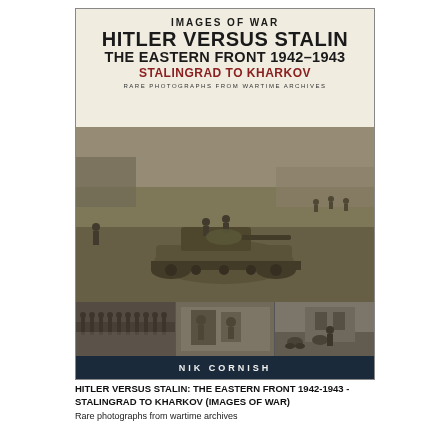[Figure (photo): Book cover of 'Hitler Versus Stalin: The Eastern Front 1942-1943 - Stalingrad to Kharkov' from the Images of War series by Nik Cornish. Cover features a large WWII era photograph of a German armored vehicle with soldiers in a field, plus three smaller photos at the bottom showing troops marching, soldiers in a building, and a street scene with motorcycles. The cover background is cream/off-white at the top with dark navy at the bottom.]
HITLER VERSUS STALIN: THE EASTERN FRONT 1942-1943 - STALINGRAD TO KHARKOV (IMAGES OF WAR)
Rare photographs from wartime archives